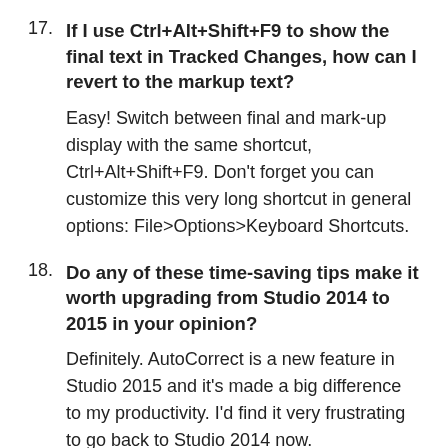17. If I use Ctrl+Alt+Shift+F9 to show the final text in Tracked Changes, how can I revert to the markup text?
Easy! Switch between final and mark-up display with the same shortcut, Ctrl+Alt+Shift+F9. Don't forget you can customize this very long shortcut in general options: File>Options>Keyboard Shortcuts.
18. Do any of these time-saving tips make it worth upgrading from Studio 2014 to 2015 in your opinion?
Definitely. AutoCorrect is a new feature in Studio 2015 and it's made a big difference to my productivity. I'd find it very frustrating to go back to Studio 2014 now.
19. Does the Regex Match Open Exchange app have a